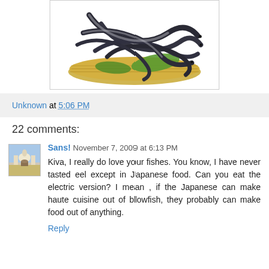[Figure (photo): Photo of multiple live eels coiled in a round woven basket with green leaf, viewed from above. Dark gray/black eels with white undersides.]
Unknown at 5:06 PM
22 comments:
Sans! November 7, 2009 at 6:13 PM
Kiva, I really do love your fishes. You know, I have never tasted eel except in Japanese food. Can you eat the electric version? I mean , if the Japanese can make haute cuisine out of blowfish, they probably can make food out of anything.
Reply